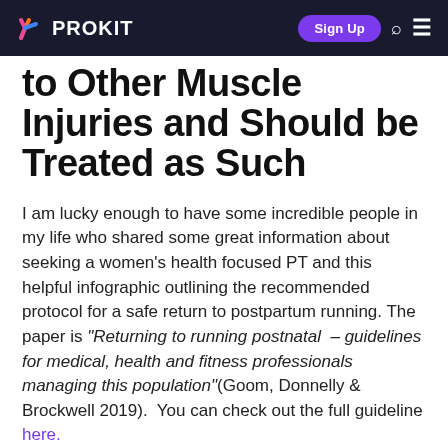PROKIT | Sign Up
to Other Muscle Injuries and Should be Treated as Such
I am lucky enough to have some incredible people in my life who shared some great information about seeking a women's health focused PT and this helpful infographic outlining the recommended protocol for a safe return to postpartum running. The paper is “Returning to running postnatal – guidelines for medical, health and fitness professionals managing this population”(Goom, Donnelly & Brockwell 2019).  You can check out the full guideline here.
EXAMPLES OF EXERCISE PROGRESSION IN THE POSTNATAL RUNNER